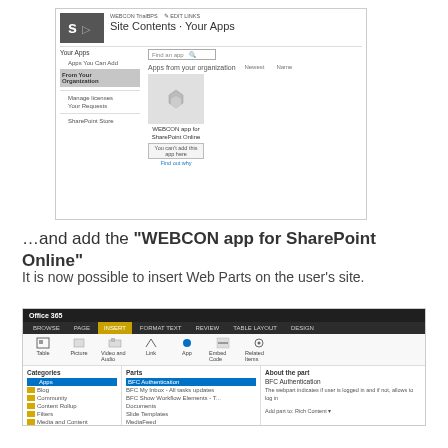[Figure (screenshot): SharePoint Online 'Site Contents - Your Apps' page showing WEBCON TrialBPS with 'From Your Organization' navigation selected and WEBCON app for SharePoint Online tile with 'You can't add this app here' button]
…and add the "WEBCON app for SharePoint Online"
It is now possible to insert Web Parts on the user's site.
[Figure (screenshot): Office 365 web parts dialog showing Categories panel with Apps highlighted, Parts panel with BFC Authentication selected, and About the part panel with description text]